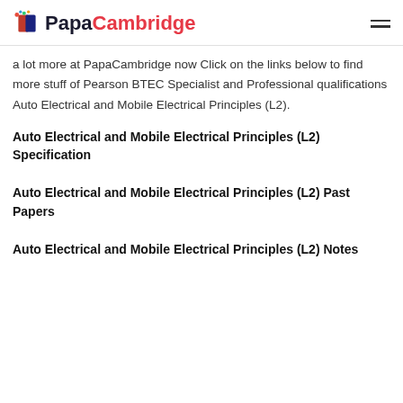PapaCambridge
a lot more at PapaCambridge now Click on the links below to find more stuff of Pearson BTEC Specialist and Professional qualifications Auto Electrical and Mobile Electrical Principles (L2).
Auto Electrical and Mobile Electrical Principles (L2) Specification
Auto Electrical and Mobile Electrical Principles (L2) Past Papers
Auto Electrical and Mobile Electrical Principles (L2) Notes